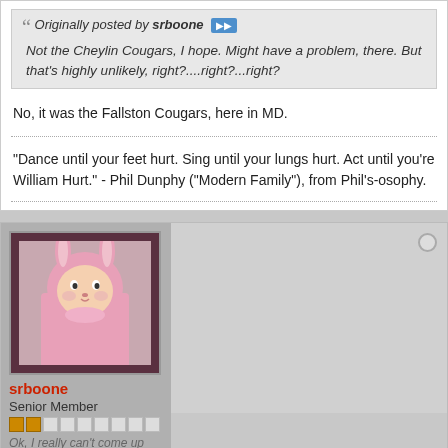Originally posted by srboone
Not the Cheylin Cougars, I hope. Might have a problem, there. But that's highly unlikely, right?....right?...right?
No, it was the Fallston Cougars, here in MD.
"Dance until your feet hurt. Sing until your lungs hurt. Act until you're William Hurt." - Phil Dunphy ("Modern Family"), from Phil's-osophy.
[Figure (photo): Avatar photo of user srboone dressed in a pink bunny costume]
srboone
Senior Member
Ok, I really can't come up with anymore of these stupid things...
Join Date: May 2011    Posts: 8659
11-08-2011, 08:23 PM
#145
DSCF0297.jpg